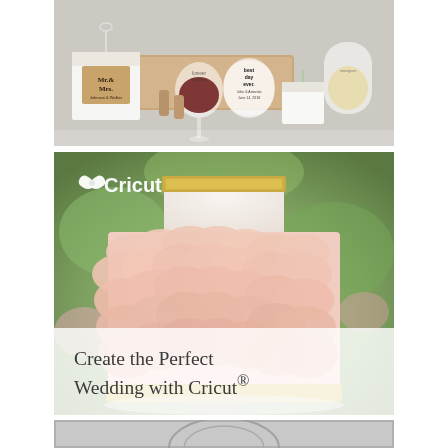[Figure (photo): Wedding favors photo: white gift boxes with 'Mr. & Mrs.' label, stemless wine glasses with text, wine corks, on a wooden board and white surface]
[Figure (photo): Close-up photo of a pink ruffled wedding cake with gold glitter band, with Cricut logo overlaid in white in the upper left]
Create the Perfect Wedding with Cricut®
[Figure (photo): Partial image at bottom, appears to be a framed or decorated item, gray tones]